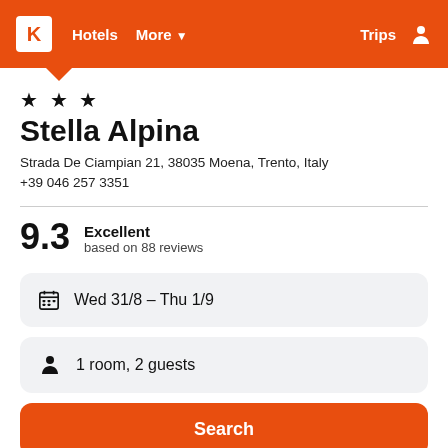K  Hotels  More ▾  Trips
★ ★ ★
Stella Alpina
Strada De Ciampian 21, 38035 Moena, Trento, Italy
+39 046 257 3351
9.3  Excellent  based on 88 reviews
Wed 31/8  –  Thu 1/9
1 room, 2 guests
Search